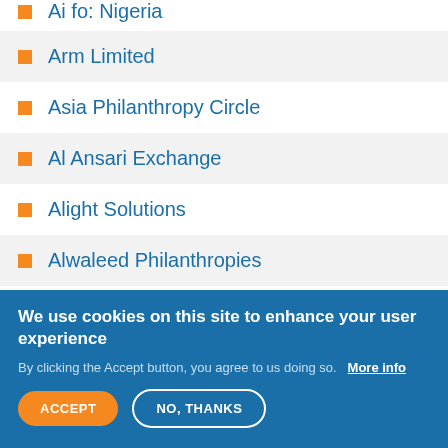Arm Limited
Asia Philanthropy Circle
Al Ansari Exchange
Alight Solutions
Alwaleed Philanthropies
Analog Devices Foundation
We use cookies on this site to enhance your user experience
By clicking the Accept button, you agree to us doing so.  More info
ACCEPT
NO, THANKS